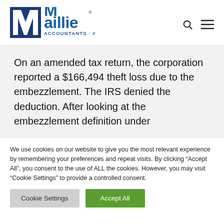[Figure (logo): Maillie Accountants Advisors logo — blue M with white slash, 'Maillie' in blue text, 'ACCOUNTANTS · ADVISORS' in blue below]
On an amended tax return, the corporation reported a $166,494 theft loss due to the embezzlement. The IRS denied the deduction. After looking at the embezzlement definition under
We use cookies on our website to give you the most relevant experience by remembering your preferences and repeat visits. By clicking "Accept All", you consent to the use of ALL the cookies. However, you may visit "Cookie Settings" to provide a controlled consent.
Cookie Settings | Accept All